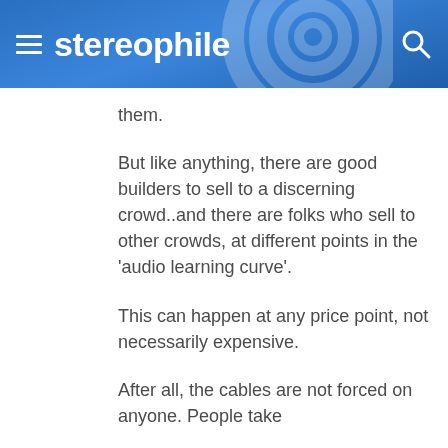stereophile
them.
But like anything, there are good builders to sell to a discerning crowd..and there are folks who sell to other crowds, at different points in the 'audio learning curve'.
This can happen at any price point, not necessarily expensive.
After all, the cables are not forced on anyone. People take